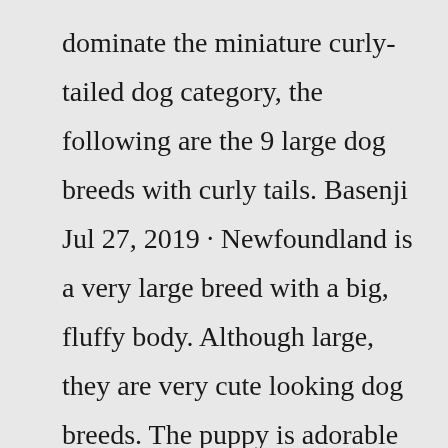dominate the miniature curly-tailed dog category, the following are the 9 large dog breeds with curly tails. Basenji Jul 27, 2019 · Newfoundland is a very large breed with a big, fluffy body. Although large, they are very cute looking dog breeds. The puppy is adorable with fluffy, pillow-like looks and as it grows up, its size can be as big as a human. However, even in its big-size, Newfoundland still looks cute, fluffy, and